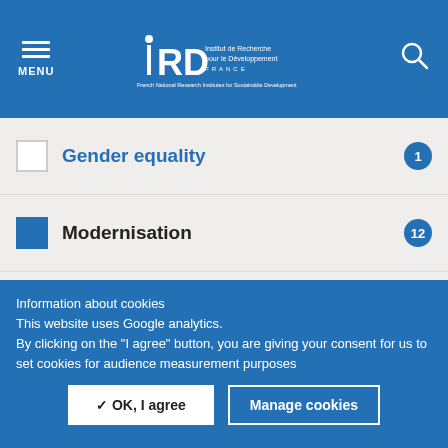MENU | IRD Institut de Recherche pour le Développement FRANCE | French National Research Institutes for Sustainable Development
Gender equality 1
Modernisation 12
Scientific integrity 4
FORMATS +
RUBRIQUE +
Information about cookies
This website uses Google analytics.
By clicking on the "I agree" button, you are giving your consent for us to set cookies for audience measurement purposes
✓ OK, I agree | Manage cookies